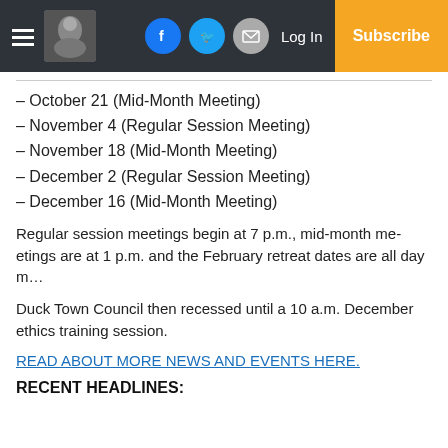Navigation bar with hamburger menu, logo, Facebook, Twitter, Email icons, Log In, Subscribe
– October 21 (Mid-Month Meeting)
– November 4 (Regular Session Meeting)
– November 18 (Mid-Month Meeting)
– December 2 (Regular Session Meeting)
– December 16 (Mid-Month Meeting)
Regular session meetings begin at 7 p.m., mid-month meetings are at 1 p.m. and the February retreat dates are all day m…
Duck Town Council then recessed until a 10 a.m. December ethics training session.
READ ABOUT MORE NEWS AND EVENTS HERE.
RECENT HEADLINES: